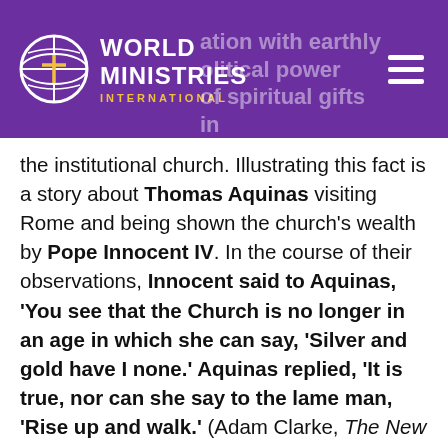World Ministries International
the institutional church. Illustrating this fact is a story about Thomas Aquinas visiting Rome and being shown the church's wealth by Pope Innocent IV. In the course of their observations, Innocent said to Aquinas, ‘You see that the Church is no longer in an age in which she can say, ‘Silver and gold have I none.’ Aquinas replied, ‘It is true, nor can she say to the lame man, ‘Rise up and walk.’ (Adam Clarke, The New Testament of Our Lord and Savior Jesus Christ with a Commentary and Critical Notes, pg. 705) (Hyatt, pg. 55)